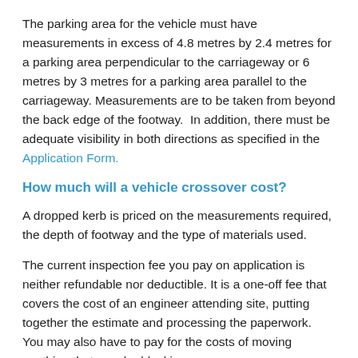The parking area for the vehicle must have measurements in excess of 4.8 metres by 2.4 metres for a parking area perpendicular to the carriageway or 6 metres by 3 metres for a parking area parallel to the carriageway. Measurements are to be taken from beyond the back edge of the footway. In addition, there must be adequate visibility in both directions as specified in the Application Form.
How much will a vehicle crossover cost?
A dropped kerb is priced on the measurements required, the depth of footway and the type of materials used.
The current inspection fee you pay on application is neither refundable nor deductible. It is a one-off fee that covers the cost of an engineer attending site, putting together the estimate and processing the paperwork. You may also have to pay for the costs of moving anything that may be blocking your new access,